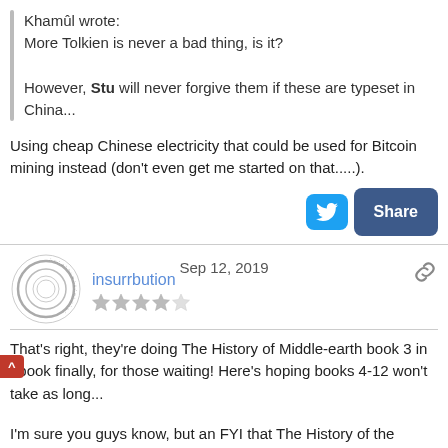Khamûl wrote:
More Tolkien is never a bad thing, is it?

However, Stu will never forgive them if these are typeset in China...
Using cheap Chinese electricity that could be used for Bitcoin mining instead (don't even get me started on that.....).
Sep 12, 2019
[Figure (illustration): One Ring circular logo avatar for user insurrbution]
insurrbution
[Figure (other): Star rating: 2 out of 5 stars]
That's right, they're doing The History of Middle-earth book 3 in ebook finally, for those waiting! Here's hoping books 4-12 won't take as long...
I'm sure you guys know, but an FYI that The History of the Hobbit exists in ebook form.
But I'm sure there may be more marketing closer to the date. Slightly off topic, but we're still awaiting the final product images for the upcoming collector's edition of "Letters From Father